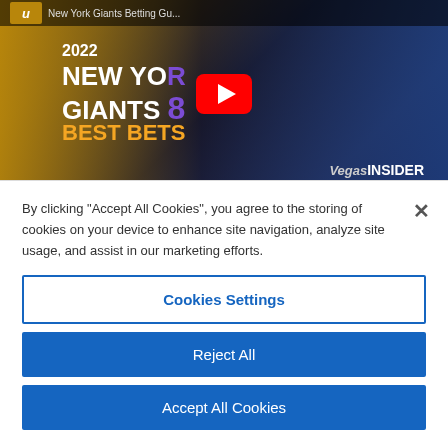[Figure (screenshot): YouTube video thumbnail for 'New York Giants Betting Guide 2022' from VegasInsider, showing NFL players, gold and blue background, with YouTube play button overlay. Text reads: 2022 NEW YORK GIANTS BEST BETS, VegasInsider.]
By clicking “Accept All Cookies”, you agree to the storing of cookies on your device to enhance site navigation, analyze site usage, and assist in our marketing efforts.
Cookies Settings
Reject All
Accept All Cookies